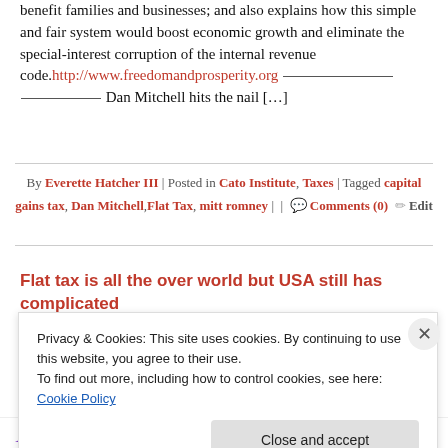benefit families and businesses; and also explains how this simple and fair system would boost economic growth and eliminate the special-interest corruption of the internal revenue code. http://www.freedomandprosperity.org ___________________ ________________ Dan Mitchell hits the nail […]
By Everette Hatcher III | Posted in Cato Institute, Taxes | Tagged capital gains tax, Dan Mitchell, Flat Tax, mitt romney | | Comments (0) Edit
Flat tax is all the over world but USA still has complicated tax code
Privacy & Cookies: This site uses cookies. By continuing to use this website, you agree to their use. To find out more, including how to control cookies, see here: Cookie Policy